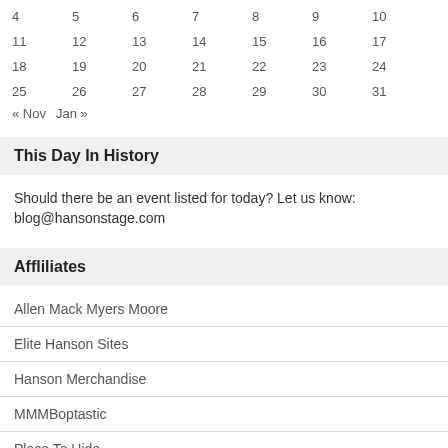| 4 | 5 | 6 | 7 | 8 | 9 | 10 |
| 11 | 12 | 13 | 14 | 15 | 16 | 17 |
| 18 | 19 | 20 | 21 | 22 | 23 | 24 |
| 25 | 26 | 27 | 28 | 29 | 30 | 31 |
« Nov   Jan »
This Day In History
Should there be an event listed for today? Let us know: blog@hansonstage.com
Affliliates
Allen Mack Myers Moore
Elite Hanson Sites
Hanson Merchandise
MMMBoptastic
Place To Hide